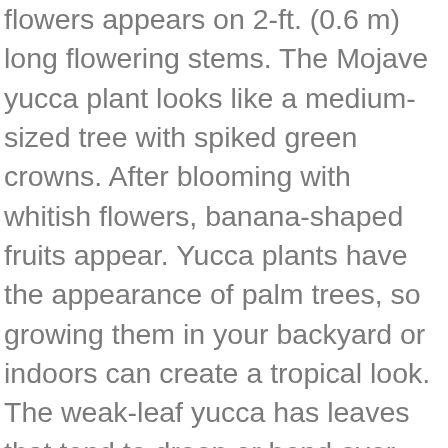flowers appears on 2-ft. (0.6 m) long flowering stems. The Mojave yucca plant looks like a medium-sized tree with spiked green crowns. After blooming with whitish flowers, banana-shaped fruits appear. Yucca plants have the appearance of palm trees, so growing them in your backyard or indoors can create a tropical look. The weak-leaf yucca has leaves that tend to droop or bend over. The ‘Our Lord’s Candle’ yucca thrives in USDA zones 7 – 9 and is cold hardy down to 10°F (-12°C). The Joshua tree is a type of fast-growing desert tree that is symbolic of the Mojave Desert in arid southwestern U.S. You can identify the Joshua tree yucca by its thick, fibrous trunk that divides into thick branches. Yucca gloriosa is a hardy ornamental plant which adds focal point to any garden. It grows to about 8 ft. tall (2.5 m), and its panicle has white flowers which sometimes have purple-red hue. How to prune yucca plants: Prune dead, brown leaves. The low-growing yucca plant grows in clumps of rosettes. Species of yucca